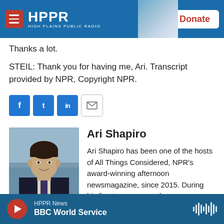[Figure (screenshot): HPPR High Plains Public Radio website header with logo, hamburger menu, and Donate button]
Thanks a lot.
STEIL: Thank you for having me, Ari. Transcript provided by NPR, Copyright NPR.
[Figure (infographic): Social sharing buttons: Facebook, Twitter, LinkedIn, Email]
[Figure (photo): Headshot photo of Ari Shapiro in dark suit]
Ari Shapiro
Ari Shapiro has been one of the hosts of All Things Considered, NPR's award-winning afternoon newsmagazine, since 2015. During his first two years on the
HPPR News BBC World Service